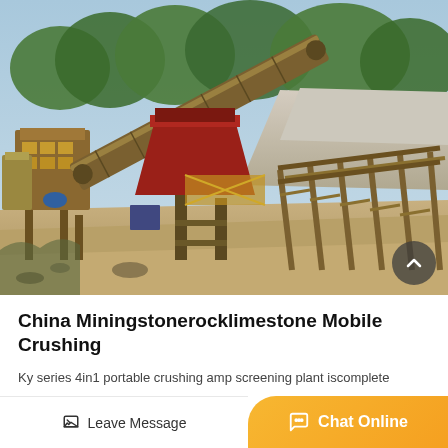[Figure (photo): Outdoor mining stone rock limestone mobile crushing and screening plant with conveyor belts, red hopper, yellow structural frames, and aggregate piles in background under blue sky with trees.]
China Miningstonerocklimestone Mobile Crushing
Ky series 4in1 portable crushing amp screening plant iscomplete
Leave Message
Chat Online